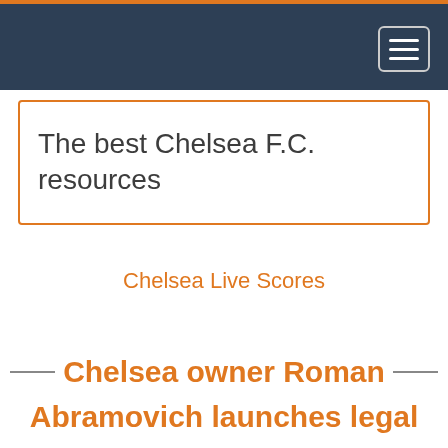The best Chelsea F.C. resources
Chelsea Live Scores
Chelsea owner Roman Abramovich launches legal